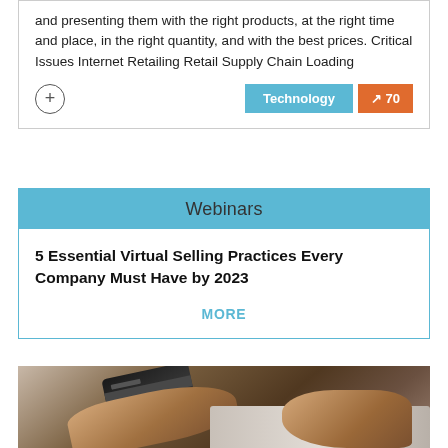and presenting them with the right products, at the right time and place, in the right quantity, and with the best prices. Critical Issues Internet Retailing Retail Supply Chain Loading
Technology
70
Webinars
5 Essential Virtual Selling Practices Every Company Must Have by 2023
MORE
[Figure (photo): Close-up photo of hands holding a credit card over a laptop keyboard, suggesting online shopping or e-commerce transaction.]